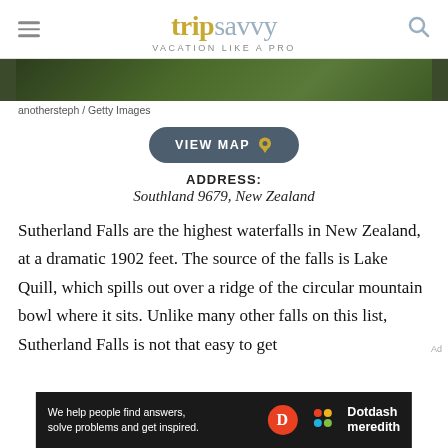tripsavvy VACATION LIKE A PRO
[Figure (photo): Green forest canopy photo strip at top of article]
anothersteph / Getty Images
VIEW MAP
ADDRESS:
Southland 9679, New Zealand
Sutherland Falls are the highest waterfalls in New Zealand, at a dramatic 1902 feet. The source of the falls is Lake Quill, which spills out over a ridge of the circular mountain bowl where it sits. Unlike many other falls on this list, Sutherland Falls is not that easy to get
[Figure (logo): Dotdash Meredith advertisement banner: 'We help people find answers, solve problems and get inspired.']